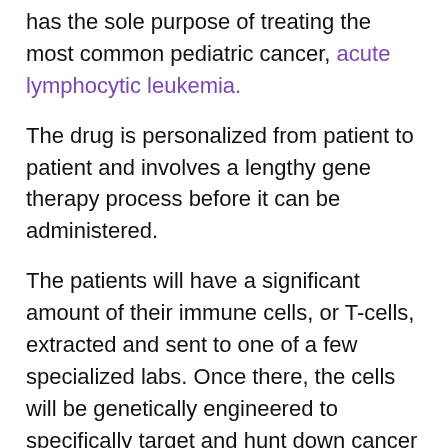has the sole purpose of treating the most common pediatric cancer, acute lymphocytic leukemia.
The drug is personalized from patient to patient and involves a lengthy gene therapy process before it can be administered.
The patients will have a significant amount of their immune cells, or T-cells, extracted and sent to one of a few specialized labs. Once there, the cells will be genetically engineered to specifically target and hunt down cancer cells and other similar antigens.
These new cells, called CAR-T cells for short, are then multiplied millions of times and tested before being sent back to the patient.
In a clinical trial of 63 patients, 83 percent went into remission within three months and 34 percent are still cancer free